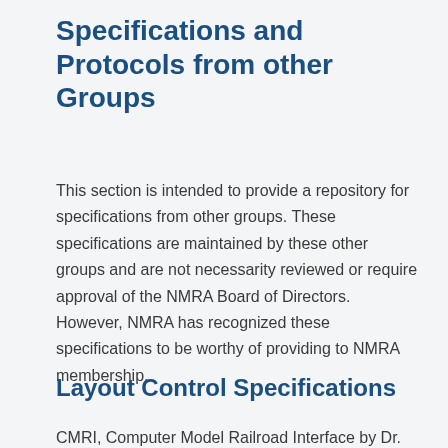Specifications and Protocols from other Groups
This section is intended to provide a repository for specifications from other groups. These specifications are maintained by these other groups and are not necessarity reviewed or require approval of the NMRA Board of Directors. However, NMRA has recognized these specifications to be worthy of providing to NMRA membership.
Layout Control Specifications
CMRI, Computer Model Railroad Interface by Dr.